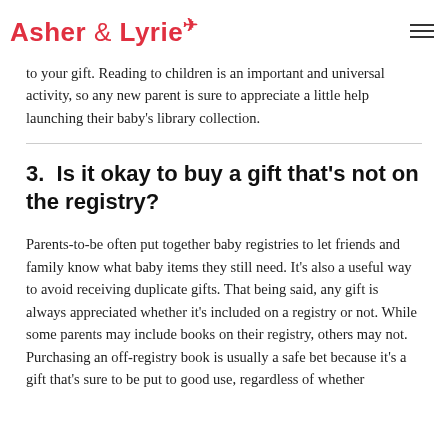Asher & Lyrie
to your gift. Reading to children is an important and universal activity, so any new parent is sure to appreciate a little help launching their baby's library collection.
3.  Is it okay to buy a gift that's not on the registry?
Parents-to-be often put together baby registries to let friends and family know what baby items they still need. It's also a useful way to avoid receiving duplicate gifts. That being said, any gift is always appreciated whether it's included on a registry or not. While some parents may include books on their registry, others may not. Purchasing an off-registry book is usually a safe bet because it's a gift that's sure to be put to good use, regardless of whether